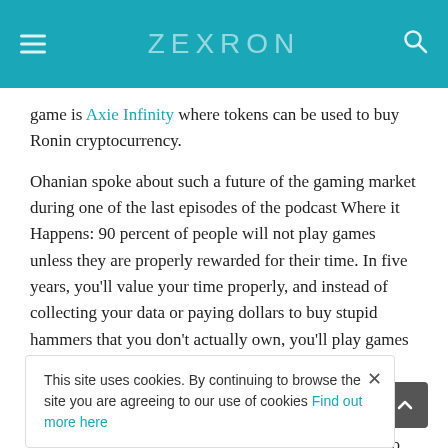ZEXRON
game is Axie Infinity where tokens can be used to buy Ronin cryptocurrency.
Ohanian spoke about such a future of the gaming market during one of the last episodes of the podcast Where it Happens: 90 percent of people will not play games unless they are properly rewarded for their time. In five years, you'll value your time properly, and instead of collecting your data or paying dollars to buy stupid hammers that you don't actually own, you'll play games that will be just as much fun, but you will earn skins. Like that then and you will be the ones who collect things. That collection he mentions refers to crypto tokens that gamers will then use further in the game to buy virtual items or exchange for cryptocurrencies.
This site uses cookies. By continuing to browse the site you are agreeing to our use of cookies Find out more here